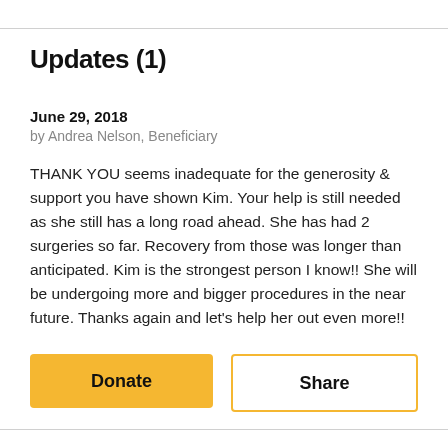Updates (1)
June 29, 2018
by Andrea Nelson, Beneficiary
THANK YOU seems inadequate for the generosity & support you have shown Kim. Your help is still needed as she still has a long road ahead. She has had 2 surgeries so far. Recovery from those was longer than anticipated. Kim is the strongest person I know!! She will be undergoing more and bigger procedures in the near future. Thanks again and let's help her out even more!!